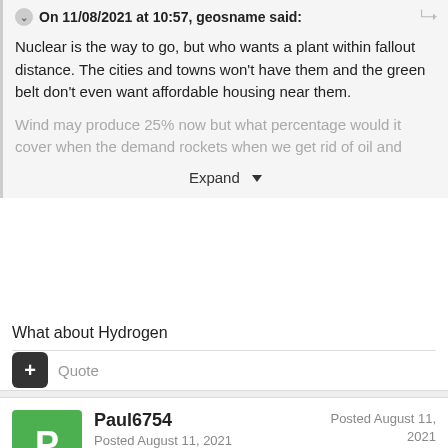On 11/08/2021 at 10:57, geosname said:
Nuclear is the way to go, but who wants a plant within fallout distance. The cities and towns won't have them and the green belt don't even want affordable housing near them.
Wind may produce 25% now but what percentage would it cover when the demand rockets when we get rid of oil and
Expand
What about Hydrogen
Quote
Paul6754
Posted August 11, 2021
Posted August 11, 2021